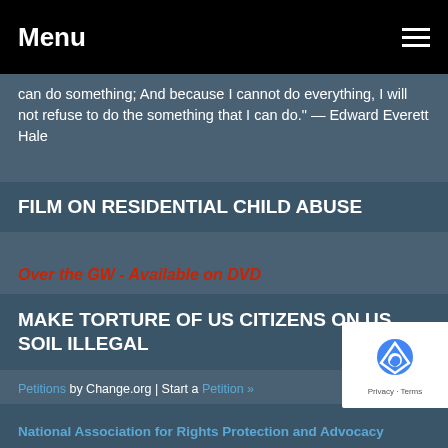Menu
can do something; And because I cannot do everything, I will not refuse to do the something that I can do." — Edward Everett Hale
FILM ON RESIDENTIAL CHILD ABUSE
Over the GW - Available on DVD
MAKE TORTURE OF US CITIZENS ON US SOIL ILLEGAL
Petitions by Change.org | Start a Petition »
IF YOU NEED HELP
National Association for Rights Protection and Advocacy